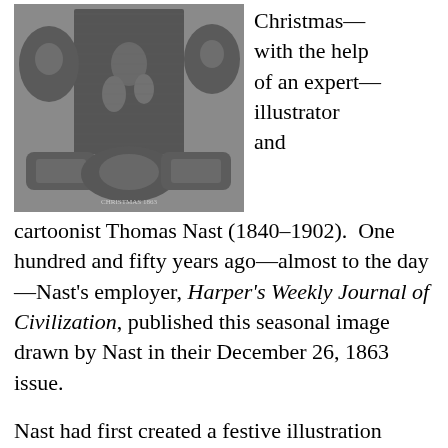[Figure (illustration): A vintage engraving showing multiple Christmas scenes featuring Santa Claus and holiday activities, published in Harper's Weekly, December 26, 1863. Multiple vignettes arranged in a collage format with caption 'CHRISTMAS 1863'.]
Christmas—with the help of an expert—illustrator and cartoonist Thomas Nast (1840–1902).  One hundred and fifty years ago—almost to the day—Nast's employer, Harper's Weekly Journal of Civilization, published this seasonal image drawn by Nast in their December 26, 1863 issue.
Nast had first created a festive illustration featuring Santa Claus engaged in a holiday activity for Harper's the year before. His 1862 illustration (published in early January of 1863) showed a slim but jolly Santa dressed in stars and stripes giving socks and other gifts to